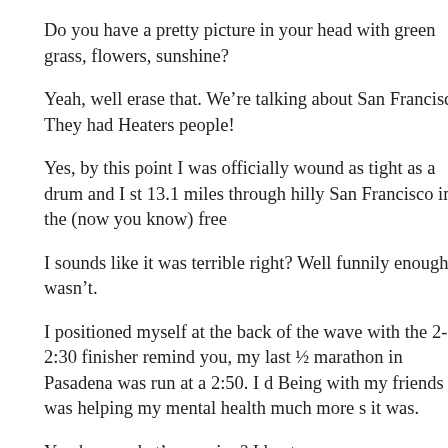Do you have a pretty picture in your head with green grass, flowers, sunshine?
Yeah, well erase that. We're talking about San Francisco. They had Heaters people!
Yes, by this point I was officially wound as tight as a drum and I st... 13.1 miles through hilly San Francisco in the (now you know) free...
I sounds like it was terrible right? Well funnily enough it wasn't.
I positioned myself at the back of the wave with the 2-2:30 finishers remind you, my last ½ marathon in Pasadena was run at a 2:50. I d... Being with my friends was helping my mental health much more so it was.
You know what's amazing? I kept up.
Almost immediately I realized that I was pacing somewhere around 10:30/mile pace. Significantly faster than I'd run ever. Really, ever. even more amazing, was that I was keeping up the pace as I ran ou... about 6 miles later. And as I charged through the half way point I c... wonderful realization that I was on pace to hit a personal record. I f... physically and mentally and knew another big secret. From the nex... (pretty much) we were running downhill. I knew that if I took adva... gravity, I could get myself ahead so far that even if I walked the las...